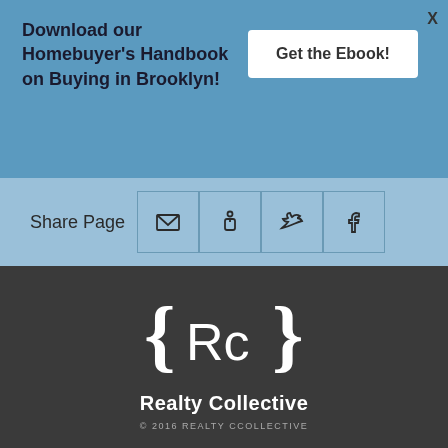Download our Homebuyer's Handbook on Buying in Brooklyn!
Get the Ebook!
Share Page
[Figure (illustration): Social sharing icons: email, LinkedIn, Twitter, Facebook]
[Figure (logo): Realty Collective logo: {Rc} with curly braces, white on dark background]
Realty Collective
© 2016 REALTY CCOLLECTIVE